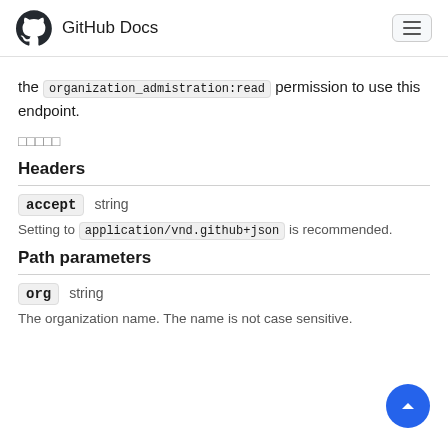GitHub Docs
the organization_admistration:read permission to use this endpoint.
□□□□□
Headers
accept  string
Setting to application/vnd.github+json is recommended.
Path parameters
org  string
The organization name. The name is not case sensitive.